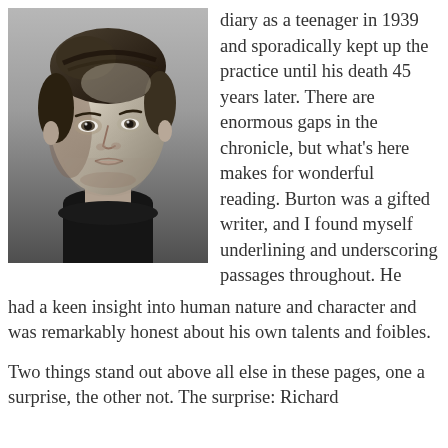[Figure (photo): Black and white portrait photograph of a young man with slicked-back dark hair, wearing a dark turtleneck, looking slightly to the side with a serious expression.]
diary as a teenager in 1939 and sporadically kept up the practice until his death 45 years later. There are enormous gaps in the chronicle, but what's here makes for wonderful reading. Burton was a gifted writer, and I found myself underlining and underscoring passages throughout. He had a keen insight into human nature and character and was remarkably honest about his own talents and foibles.
Two things stand out above all else in these pages, one a surprise, the other not. The surprise: Richard